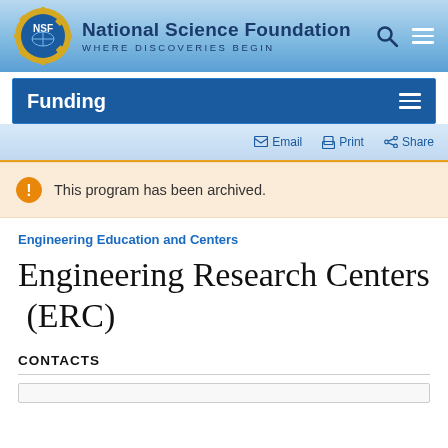[Figure (logo): NSF National Science Foundation logo with tagline WHERE DISCOVERIES BEGIN and navigation icons (search, menu)]
Funding
Email  Print  Share
This program has been archived.
Engineering Education and Centers
Engineering Research Centers (ERC)
CONTACTS